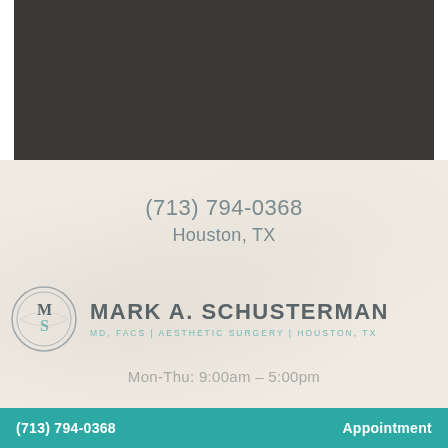[Figure (photo): Dark charcoal/brown background section at top of page — appears to be a dark textured or photo banner area]
(713) 794-0368
Houston, TX
[Figure (logo): Mark A. Schusterman MD FACS logo — circular monogram with S/M letters in teal/grey, beside the full name in uppercase grey text with teal subtitle 'MD, FACS | AESTHETIC SURGERY | HOUSTON, TX']
Mon-Thu: 9:00am – 5:00pm
(713) 794-0368    Appointment